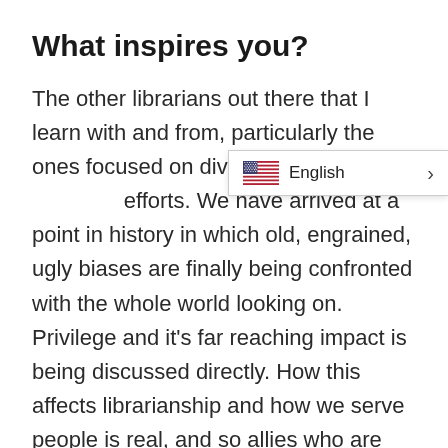What inspires you?
The other librarians out there that I learn with and from, particularly the ones focused on diversity, equity, and inclusion efforts. We have arrived at a point in history in which old, engrained, ugly biases are finally being confronted with the whole world looking on. Privilege and it's far reaching impact is being discussed directly. How this affects librarianship and how we serve people is real, and so allies who are braving their own fears to look in the mirror, do the internal work, and improve their actions inspire me.
[Figure (screenshot): Language selector dropdown showing US flag and 'English' label with a right arrow chevron]